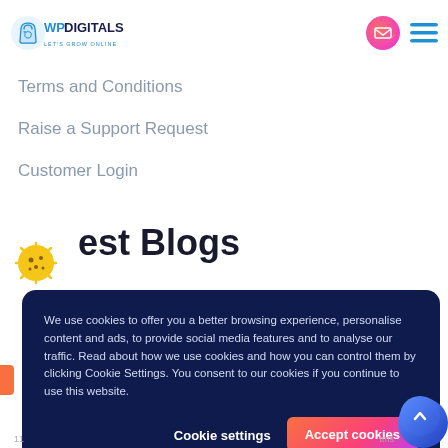[Figure (logo): WP Digitals logo with tagline LET'S GROW ONLINE and navigation icons]
Terms and Conditions
Raise a Support Request
Customer Login
Latest Blogs
We use cookies to offer you a better browsing experience, personalise content and ads, to provide social media features and to analyse our traffic. Read about how we use cookies and how you can control them by clicking Cookie Settings. You consent to our cookies if you continue to use this website.
Cookie settings   Accept cookies